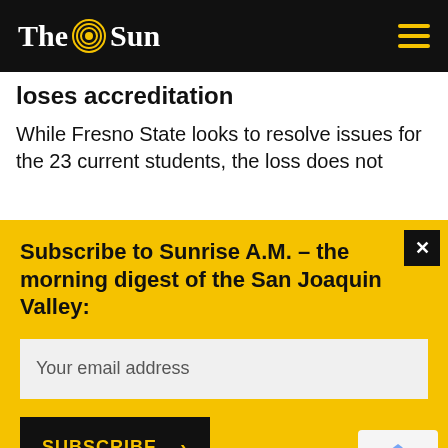The Sun
loses accreditation
While Fresno State looks to resolve issues for the 23 current students, the loss does not
Subscribe to Sunrise A.M. – the morning digest of the San Joaquin Valley:
Your email address
SUBSCRIBE >